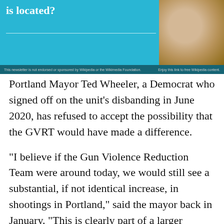[Figure (other): Wikipedia promotional banner with cyan/teal background, bold white text reading 'is located?' and a decorative line, with a photo of a round wooden/stone object on the right side, and a dark footer bar with small text reading 'This newsletter is not endorsed or sponsored by Wikipedia or the Wikimedia Foundation.' on left and 'Enjoy this link to free Wikipedia content.' on right.]
Portland Mayor Ted Wheeler, a Democrat who signed off on the unit’s disbanding in June 2020, has refused to accept the possibility that the GVRT would have made a difference.
“I believe if the Gun Violence Reduction Team were around today, we would still see a substantial, if not identical increase, in shootings in Portland,” said the mayor back in January. “This is clearly part of a larger national trend.”